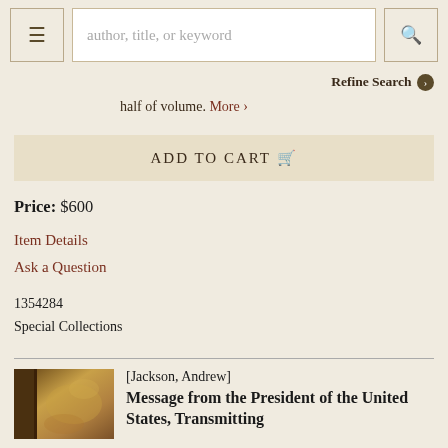author, title, or keyword | Refine Search
half of volume. More ›
ADD TO CART 🛒
Price: $600
Item Details
Ask a Question
1354284
Special Collections
[Jackson, Andrew]
Message from the President of the United States, Transmitting...